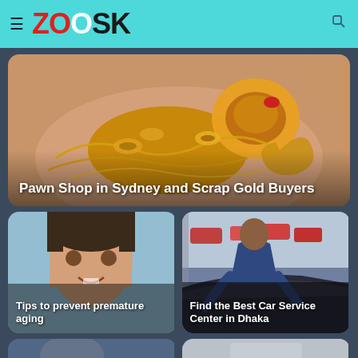ZOOSK
[Figure (photo): Close-up of a hand holding multiple gold jewelry items including rings and chains - Pawn Shop in Sydney and Scrap Gold Buyers]
Pawn Shop in Sydney and Scrap Gold Buyers
[Figure (photo): Woman pointing to her face near eyes - Tips to prevent premature aging]
Tips to prevent premature aging
[Figure (photo): Mechanic leaning over car engine in a car service center - Find the Best Car Service Center in Dhaka]
Find the Best Car Service Center in Dhaka
[Figure (photo): Partial view of two more article thumbnail images at bottom of page]